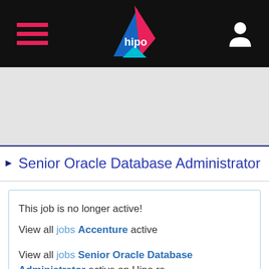hipo — navigation header with hamburger menu and user icon
Senior Oracle Database Administrator
This job is no longer active!
View all jobs Accenture active
View all jobs Senior Oracle Database Administrator active on Hipo.ro
View all jobs IT Software active on Hipo.ro